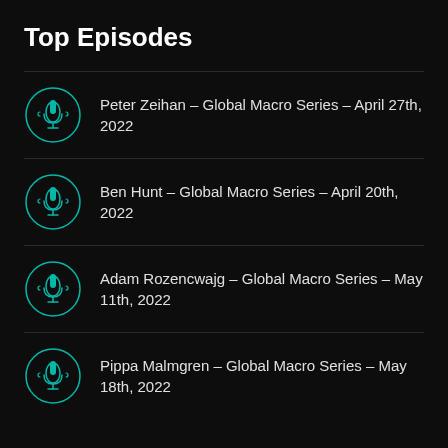Top Episodes
Peter Zeihan – Global Macro Series – April 27th, 2022
Ben Hunt – Global Macro Series – April 20th, 2022
Adam Rozencwajg – Global Macro Series – May 11th, 2022
Pippa Malmgren – Global Macro Series – May 18th, 2022